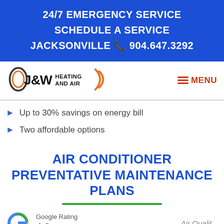24/7 EMERGENCY SERVICE
SCHEDULE A SERVICE
JACKSONVILLE 904.647.3292
[Figure (logo): J&W Heating and Air logo with orange and blue swoosh accents]
MENU
Up to 30% savings on energy bill
Two affordable options
AIR CONDITIONER PREVENTATIVE MAINTENANCE PLANS
[Figure (logo): Google Rating logo with G icon and star rating showing 4.8 stars]